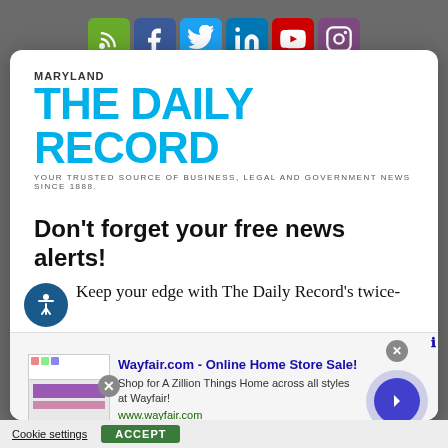[Figure (screenshot): Social media icon bar with RSS, Facebook, Twitter, LinkedIn, YouTube, Instagram icons on grey background]
[Figure (logo): Maryland The Daily Record logo in blue with tagline: YOUR TRUSTED SOURCE OF BUSINESS, LEGAL AND GOVERNMENT NEWS SINCE 1888.]
Don't forget your free news alerts!
Keep your edge with The Daily Record's twice-
[Figure (screenshot): Wayfair.com advertisement banner: Online Home Store Sale! Shop for A Zillion Things Home across all styles at Wayfair! www.wayfair.com]
SIGN UP FOR FREE
Cookie settings   ACCEPT